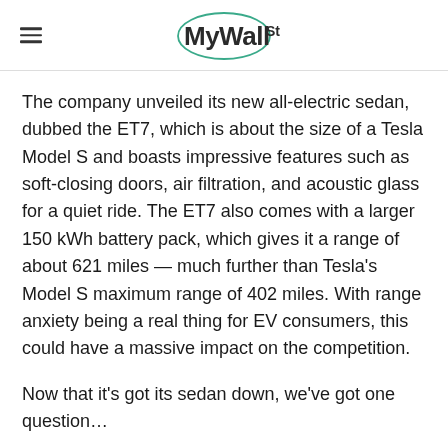MyWallSt
The company unveiled its new all-electric sedan, dubbed the ET7, which is about the size of a Tesla Model S and boasts impressive features such as soft-closing doors, air filtration, and acoustic glass for a quiet ride. The ET7 also comes with a larger 150 kWh battery pack, which gives it a range of about 621 miles — much further than Tesla's Model S maximum range of 402 miles. With range anxiety being a real thing for EV consumers, this could have a massive impact on the competition.
Now that it's got its sedan down, we've got one question…